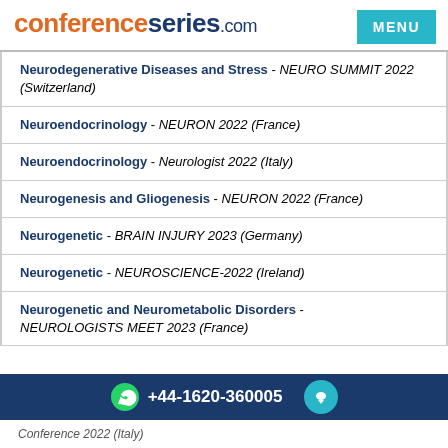conferenceseries.com
Neurodegenerative Diseases and Stress - NEURO SUMMIT 2022 (Switzerland)
Neuroendocrinology - NEURON 2022 (France)
Neuroendocrinology - Neurologist 2022 (Italy)
Neurogenesis and Gliogenesis - NEURON 2022 (France)
Neurogenetic - BRAIN INJURY 2023 (Germany)
Neurogenetic - NEUROSCIENCE-2022 (Ireland)
Neurogenetic and Neurometabolic Disorders - NEUROLOGISTS MEET 2023 (France)
+44-1620-360005
Conference 2022 (Italy)